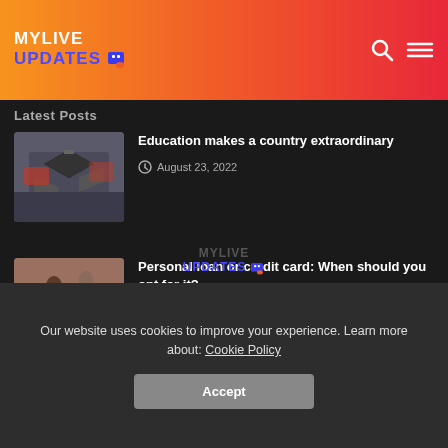MYLIVE UPDATES
Latest Posts
[Figure (photo): Graduation caps tossed in the air]
Education makes a country extraordinary
August 23, 2022
[Figure (photo): Two people working on a laptop together]
Personal loan or credit card: When should you opt for it?
August 23, 2022
[Figure (logo): MYLIVE UPDATES footer logo]
Our website uses cookies to improve your experience. Learn more about: Cookie Policy
Accept